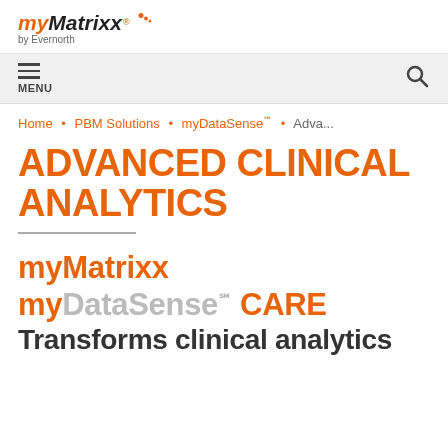[Figure (logo): myMatrixx by Evernorth logo with orange dots above the 'x' in Matrixx]
≡ MENU  🔍
Home • PBM Solutions • myDataSense℠ • Adva...
ADVANCED CLINICAL ANALYTICS
myMatrixx
myDataSense℠ CARE
Transforms clinical analytics